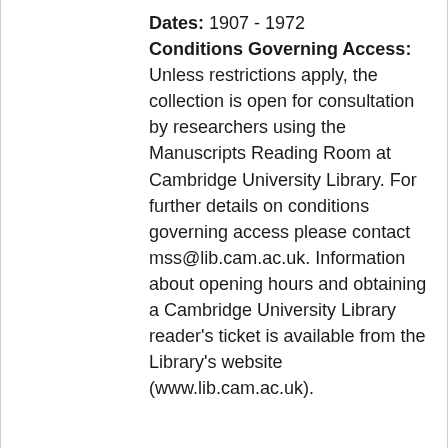Dates: 1907 - 1972
Conditions Governing Access: Unless restrictions apply, the collection is open for consultation by researchers using the Manuscripts Reading Room at Cambridge University Library. For further details on conditions governing access please contact mss@lib.cam.ac.uk. Information about opening hours and obtaining a Cambridge University Library reader's ticket is available from the Library's website (www.lib.cam.ac.uk).